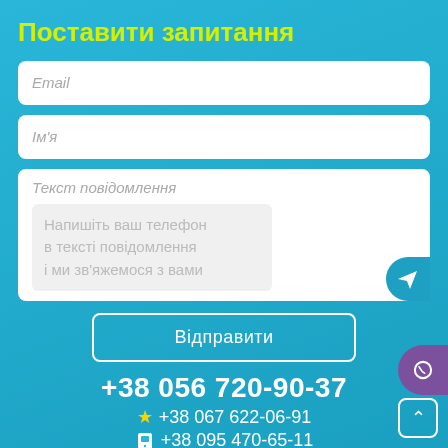Поставити запитання
Email
Ім'я
Текст повідомлення
Напишіть ваш телефон в тексті повідомлення і ми зв'яжемося з вами
Відправити
+38 056 720-90-37
+38 067 622-06-91
+38 095 470-65-11